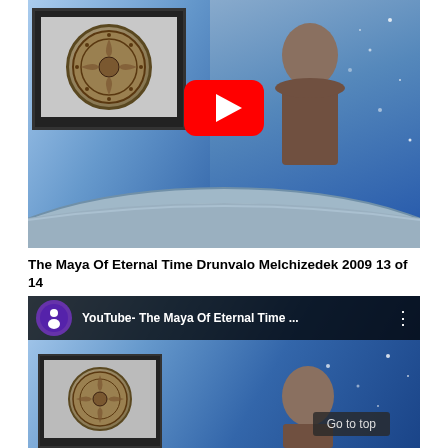[Figure (screenshot): YouTube video thumbnail showing a TV studio scene with a man standing behind a curved desk, a monitor displaying an Aztec coin/calendar, and a blue starry background. A red YouTube play button is centered on the image.]
The Maya Of Eternal Time Drunvalo Melchizedek 2009 13 of 14
[Figure (screenshot): YouTube video thumbnail showing the same studio scene with a YouTube top bar reading 'YouTube- The Maya Of Eternal Time ...' with a purple channel icon, and a 'Go to top' button in the lower right.]